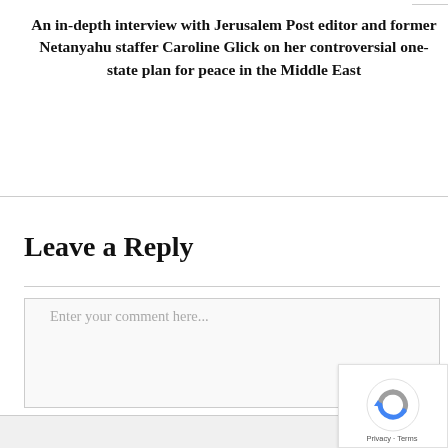An in-depth interview with Jerusalem Post editor and former Netanyahu staffer Caroline Glick on her controversial one-state plan for peace in the Middle East
Leave a Reply
Enter your comment here...
[Figure (other): reCAPTCHA widget with spinning arrows logo and Privacy · Terms footer text]